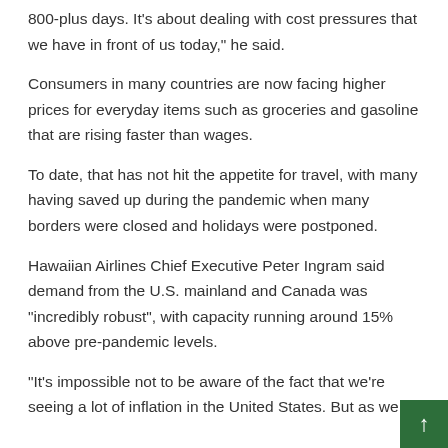800-plus days. It's about dealing with cost pressures that we have in front of us today," he said.
Consumers in many countries are now facing higher prices for everyday items such as groceries and gasoline that are rising faster than wages.
To date, that has not hit the appetite for travel, with many having saved up during the pandemic when many borders were closed and holidays were postponed.
Hawaiian Airlines Chief Executive Peter Ingram said demand from the U.S. mainland and Canada was "incredibly robust", with capacity running around 15% above pre-pandemic levels.
"It's impossible not to be aware of the fact that we're seeing a lot of inflation in the United States. But as we lo